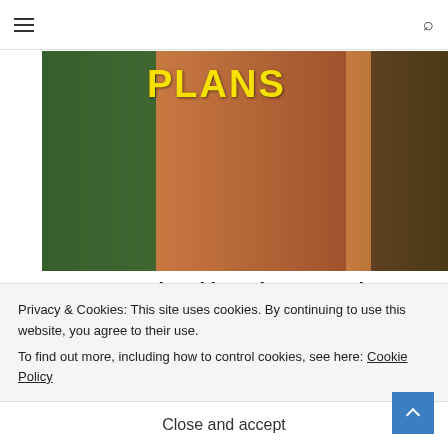Navigation bar with hamburger menu and search icon
[Figure (photo): Collage of woodworking images with the word PLANS in large yellow text overlaid on wood furniture and garden scenes]
16,000 Woodworking Plans & Projects With Videos
nib Woodworking
[Figure (photo): Partial view of a second article image with peach/salmon background and a circular border element]
Privacy & Cookies: This site uses cookies. By continuing to use this website, you agree to their use.
To find out more, including how to control cookies, see here: Cookie Policy
Close and accept